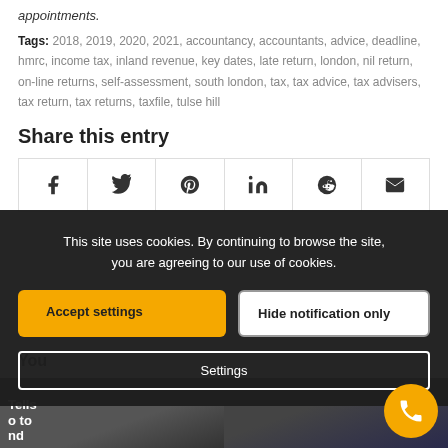appointments.
Tags: 2018, 2019, 2020, 2021, accountancy, accountants, advice, deadline, hmrc, income tax, inland revenue, key dates, late return, london, nil return, on-line returns, self-assessment, south london, tax, tax advice, tax advisers, tax return, tax returns, taxfile, tulse hill
Share this entry
[Figure (other): Social share bar with icons for Facebook, Twitter, Pinterest, LinkedIn, Reddit, and Email]
This site uses cookies. By continuing to browse the site, you are agreeing to our use of cookies.
Accept settings | Hide notification only | Settings